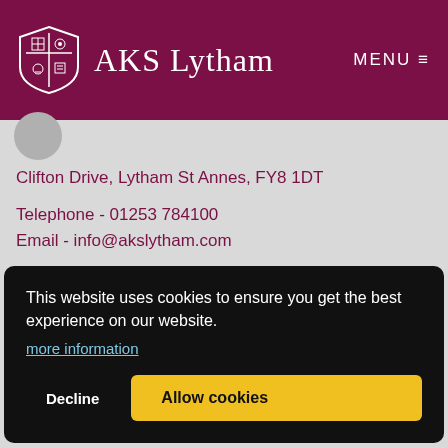AKS Lytham  MENU ≡
Clifton Drive, Lytham St Annes, FY8 1DT
Telephone - 01253 784100
Email - info@akslytham.com
Preparatory School - 01253 784110 (Absence line: x156)
This website uses cookies to ensure you get the best experience on our website.
more information
Decline
Allow cookies